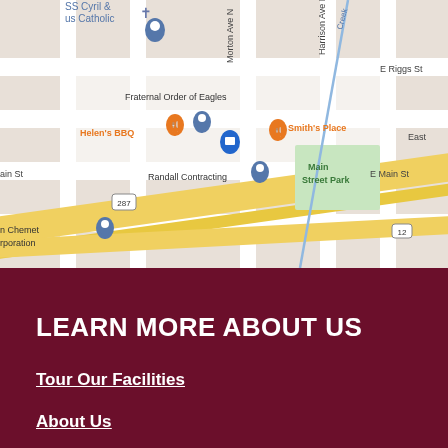[Figure (map): Google Maps screenshot showing a street map with landmarks including SS Cyril & Us Catholic (church), Fraternal Order of Eagles, Helen's BBQ, Smith's Place, Randall Contracting, Main Street Park, Chemet Corporation, and roads including E Riggs St, E Main St, Morton Ave N, Harrison Ave N, and highways 287 and 12.]
LEARN MORE ABOUT US
Tour Our Facilities
About Us